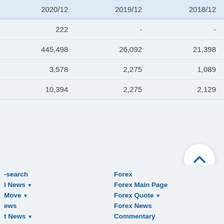| 2020/12 | 2019/12 | 2018/12 |
| --- | --- | --- |
| 222 | - | - |
| 445,498 | 26,092 | 21,398 |
| 3,578 | 2,275 | 1,089 |
| 10,394 | 2,275 | 2,129 |
-search
Forex
l News ▼
Forex Main Page
Move ▼
Forex Quote ▼
ews
Forex News
t News ▼
Commentary